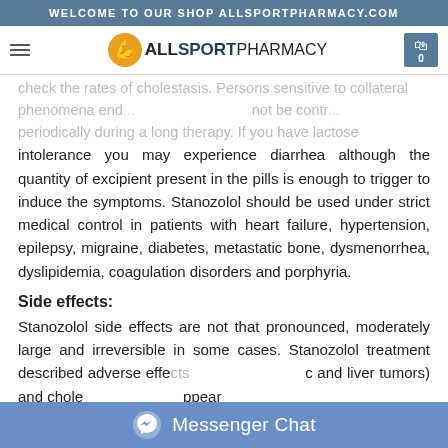WELCOME TO OUR SHOP ALLSPORTPHARMACY.COM
check the rates of cholestasis. Persons sensitive to collateral phenomena end... not be contr... periodically during a long therapy. If you have lactose intolerance you may experience diarrhea although the quantity of excipient present in the pills is enough to trigger to induce the symptoms. Stanozolol should be used under strict medical control in patients with heart failure, hypertension, epilepsy, migraine, diabetes, metastatic bone, dysmenorrhea, dyslipidemia, coagulation disorders and porphyria.
Side effects:
Stanozolol side effects are not that pronounced, moderately large and irreversible in some cases. Stanozolol treatment described adverse effects... (hepatotoxic and liver tumors) and chole... appear